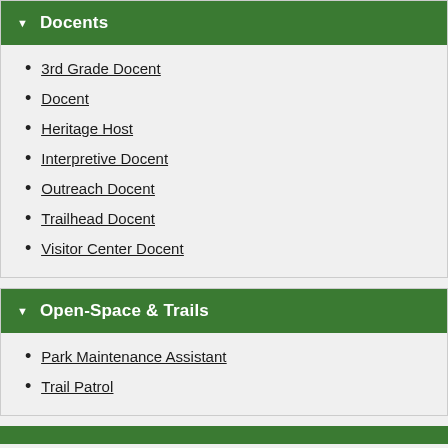Docents
3rd Grade Docent
Docent
Heritage Host
Interpretive Docent
Outreach Docent
Trailhead Docent
Visitor Center Docent
Open-Space & Trails
Park Maintenance Assistant
Trail Patrol